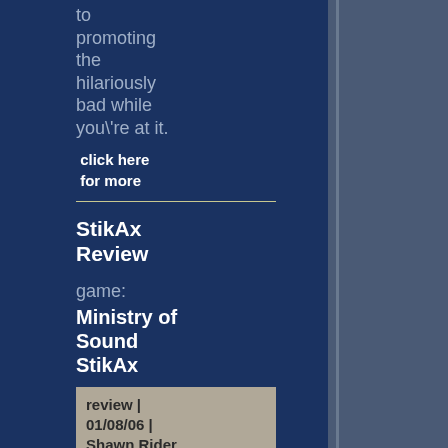to promoting the hilariously bad while you\'re at it.
click here for more
StikAx Review
game: Ministry of Sound StikAx
review | 01/08/06 | Shawn Rider
What does a music and video mixing peripheral have to do